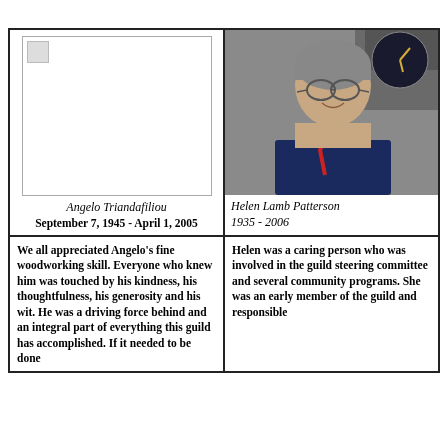[Figure (photo): Missing/broken image placeholder for Angelo Triandafiliou]
Angelo Triandafiliou
September 7, 1945 - April 1, 2005
[Figure (photo): Photo of Helen Lamb Patterson, an elderly woman with short gray hair and glasses, smiling, wearing a white turtleneck and dark jacket with a red lanyard, in front of a clock on a stone wall]
Helen Lamb Patterson
1935 - 2006
We all appreciated Angelo's fine woodworking skill. Everyone who knew him was touched by his kindness, his thoughtfulness, his generosity and his wit.  He was a driving force behind and an integral part of everything this guild has accomplished. If it needed to be done
Helen was a caring person who was involved in the guild steering committee and several community programs.  She was an early member of the guild and responsible